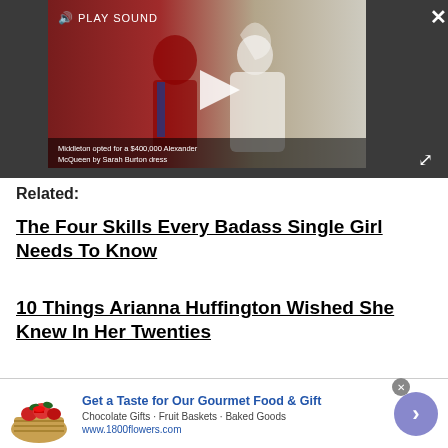[Figure (screenshot): Video player showing a couple (man in red military uniform, woman in white wedding dress) with play button overlay. Caption reads: 'Middleton opted for a $400,000 Alexander McQueen by Sarah Burton dress'. Top bar shows speaker icon and PLAY SOUND text. Close X button top right. Expand arrows bottom right.]
Related:
The Four Skills Every Badass Single Girl Needs To Know
10 Things Arianna Huffington Wished She Knew In Her Twenties
[Figure (screenshot): Advertisement banner for 1800flowers.com: Get a Taste for Our Gourmet Food & Gift. Chocolate Gifts - Fruit Baskets - Baked Goods. www.1800flowers.com. Shows gift basket image on left and blue chevron button on right.]